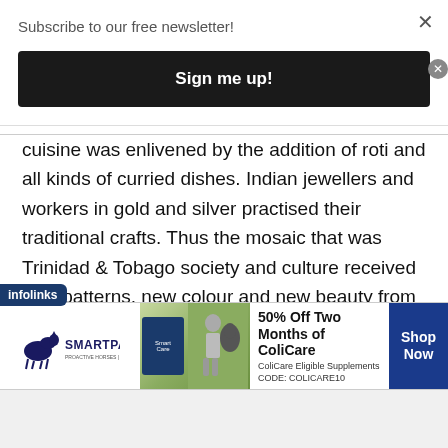Subscribe to our free newsletter!
Sign me up!
cuisine was enlivened by the addition of roti and all kinds of curried dishes. Indian jewellers and workers in gold and silver practised their traditional crafts. Thus the mosaic that was Trinidad & Tobago society and culture received new patterns, new colour and new beauty from the people of India, now true sons and daughters of the Caribbean soil.
[Figure (infographic): SmartPak advertisement banner: 50% Off Two Months of ColiCare, ColiCare Eligible Supplements, CODE: COLICARE10, Shop Now button. Shows SmartPak logo with horse and woman with horse imagery.]